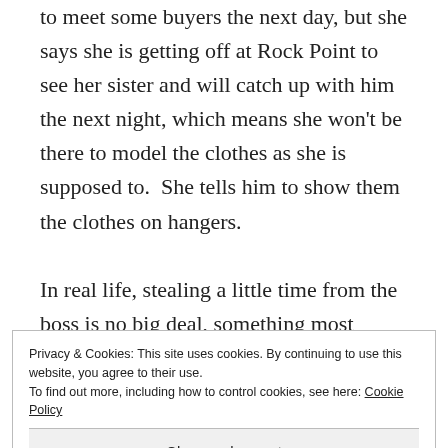to meet some buyers the next day, but she says she is getting off at Rock Point to see her sister and will catch up with him the next night, which means she won't be there to model the clothes as she is supposed to.  She tells him to show them the clothes on hangers.

In real life, stealing a little time from the boss is no big deal, something most
Privacy & Cookies: This site uses cookies. By continuing to use this website, you agree to their use.
To find out more, including how to control cookies, see here: Cookie Policy
Close and accept